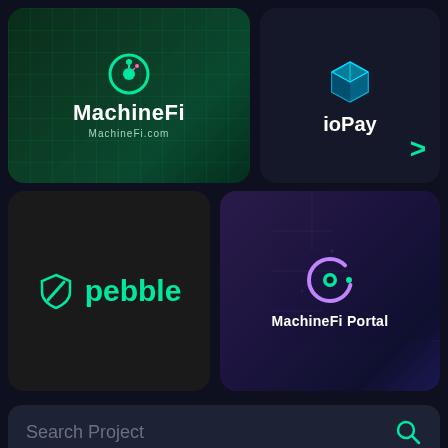[Figure (logo): MachineFi card with green circuit background, circular logo icon, title 'MachineFi' and URL 'MachineFi.com']
[Figure (logo): ioPay card with dark background, 3D cube logo icon and title 'ioPay', with a cyan chevron arrow pointing right]
[Figure (logo): Pebble card with dark background, green shield/slash icon and green 'pebble' text]
[Figure (logo): MachineFi Portal card with purple/dark background, circular C-shaped logo icon and title 'MachineFi Portal']
Search Project